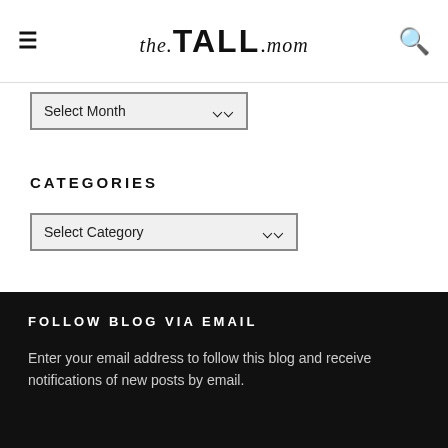the.TALL.mom
Select Month
CATEGORIES
Select Category
SOCIAL
[Figure (other): Social media icons: Facebook, Twitter, Instagram, Pinterest]
FOLLOW BLOG VIA EMAIL
Enter your email address to follow this blog and receive notifications of new posts by email.